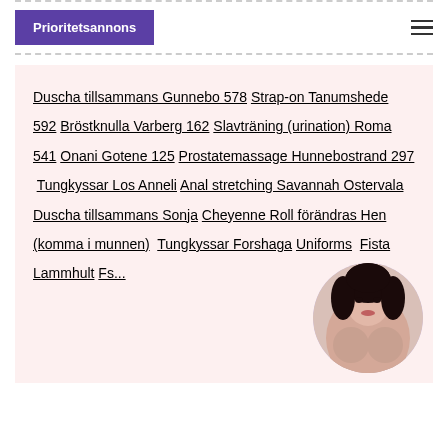Prioritetsannons
Duscha tillsammans Gunnebo 578 Strap-on Tanumshede 592 Bröstknulla Varberg 162 Slavträning (urination) Roma 541 Onani Gotene 125 Prostatemassage Hunnebostrand 297 Tungkyssar Los Anneli Anal stretching Savannah Ostervala Duscha tillsammans Sonja Cheyenne Roll förändras Hen (komma i munnen) Tungkyssar Forshaga Uniforms Fista Lammhult Fs...
[Figure (photo): Circular cropped photo of a woman]